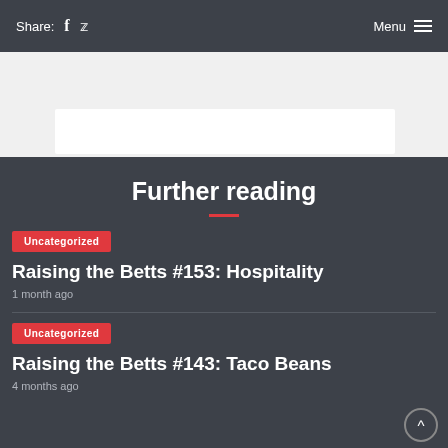Share: f 🐦  Menu ☰
Further reading
Uncategorized
Raising the Betts #153: Hospitality
1 month ago
Uncategorized
Raising the Betts #143: Taco Beans
4 months ago